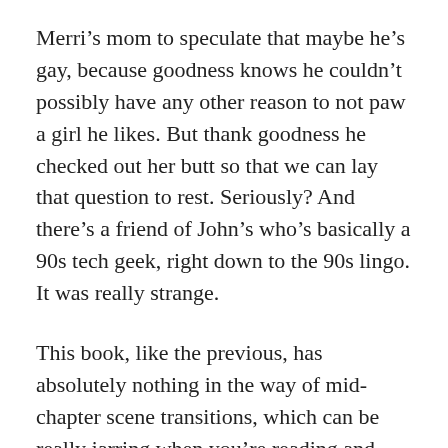Merri's mom to speculate that maybe he's gay, because goodness knows he couldn't possibly have any other reason to not paw a girl he likes. But thank goodness he checked out her butt so that we can lay that question to rest. Seriously? And there's a friend of John's who's basically a 90s tech geek, right down to the 90s lingo. It was really strange.
This book, like the previous, has absolutely nothing in the way of mid-chapter scene transitions, which can be really jarring when you're reading and suddenly it's another day, location, etc. Overall, though, it's the characters and present-day plot that make me not so sure I want to read the final book in this series. Especially since the